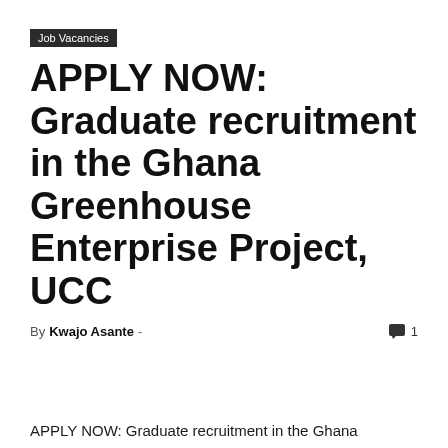Job Vacancies
APPLY NOW: Graduate recruitment in the Ghana Greenhouse Enterprise Project, UCC
By Kwajo Asante -   💬 1
APPLY NOW: Graduate recruitment in the Ghana Greenhouse Enterprise Project, UCC
The School of Agriculture Teaching and Research Farm with support from the Ghana EXIM Bank is establishing a large